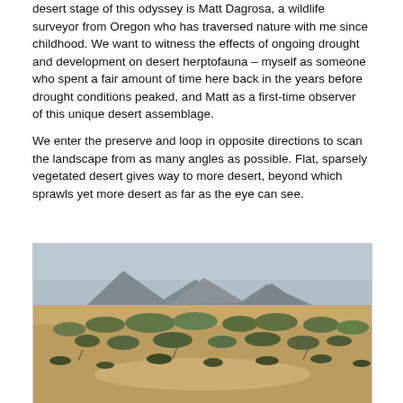desert stage of this odyssey is Matt Dagrosa, a wildlife surveyor from Oregon who has traversed nature with me since childhood. We want to witness the effects of ongoing drought and development on desert herptofauna – myself as someone who spent a fair amount of time here back in the years before drought conditions peaked, and Matt as a first-time observer of this unique desert assemblage.
We enter the preserve and loop in opposite directions to scan the landscape from as many angles as possible. Flat, sparsely vegetated desert gives way to more desert, beyond which sprawls yet more desert as far as the eye can see.
[Figure (photo): A wide desert landscape photograph showing sparse desert scrub vegetation, sandy soil, and distant mountains under a hazy grey-blue sky.]